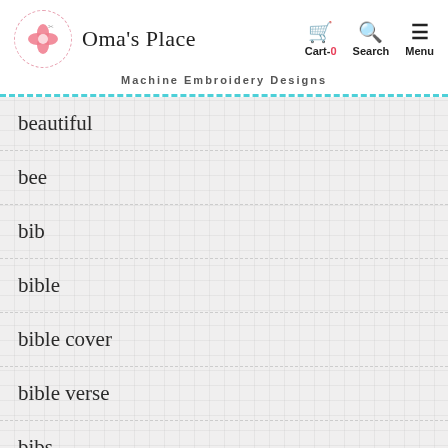Oma's Place — Machine Embroidery Designs — Cart-0 Search Menu
beautiful
bee
bib
bible
bible cover
bible verse
bibs